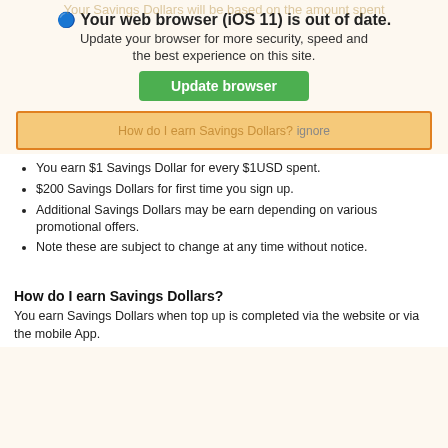Your web browser (iOS 11) is out of date.
Update your browser for more security, speed and the best experience on this site.
Update browser
How do I earn Savings Dollars? ignore
You earn $1 Savings Dollar for every $1USD spent.
$200 Savings Dollars for first time you sign up.
Additional Savings Dollars may be earn depending on various promotional offers.
Note these are subject to change at any time without notice.
How do I earn Savings Dollars?
You earn Savings Dollars when top up is completed via the website or via the mobile App.